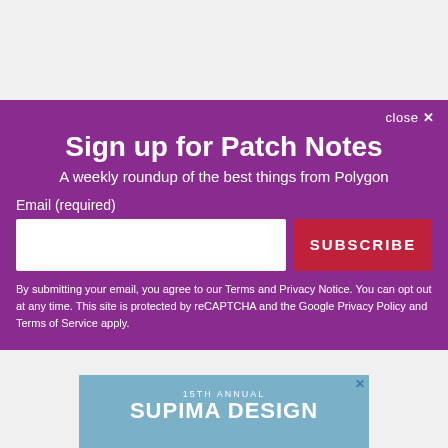Sign up for Patch Notes
A weekly roundup of the best things from Polygon
Email (required)
SUBSCRIBE
By submitting your email, you agree to our Terms and Privacy Notice. You can opt out at any time. This site is protected by reCAPTCHA and the Google Privacy Policy and Terms of Service apply.
[Figure (screenshot): Advertisement banner showing '15TH ANNUAL SUPIMA DESIGN' text on a light blue background with a bird/sail image]